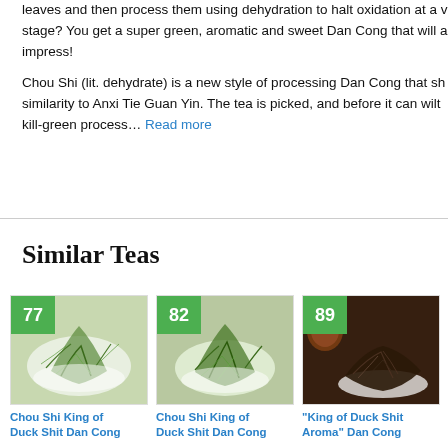leaves and then process them using dehydration to halt oxidation at a very early stage? You get a super green, aromatic and sweet Dan Cong that will a… impress!
Chou Shi (lit. dehydrate) is a new style of processing Dan Cong that sh… similarity to Anxi Tie Guan Yin. The tea is picked, and before it can wilt… kill-green process… Read more
Similar Teas
[Figure (photo): Score badge 77 over green tea leaves on white background — Chou Shi King of Duck Shit Dan Cong]
Chou Shi King of Duck Shit Dan Cong
[Figure (photo): Score badge 82 over green twisted tea leaves on white background — Chou Shi King of Duck Shit Dan Cong]
Chou Shi King of Duck Shit Dan Cong
[Figure (photo): Score badge 89 over dark tea leaves on dark background with teapot — King of Duck Shit Aroma Dan Cong]
"King of Duck Shit Aroma" Dan Cong